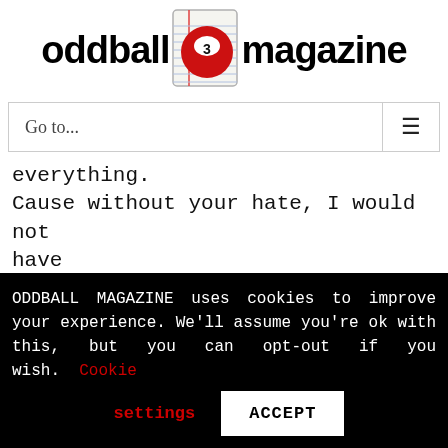[Figure (logo): Oddball Magazine logo with a red billiard ball numbered 3 and the text 'oddball magazine']
Go to...
everything.
Cause without your hate, I would not have
ODDBALL MAGAZINE uses cookies to improve your experience. We'll assume you're ok with this, but you can opt-out if you wish. Cookie settings ACCEPT